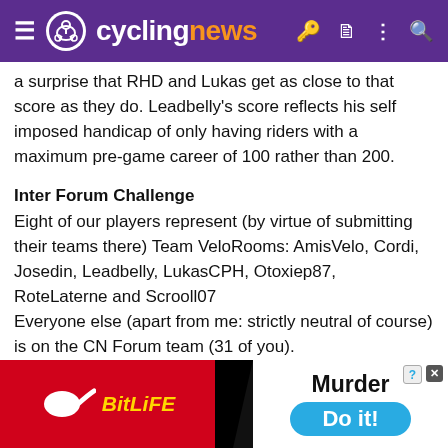cyclingnews
a surprise that RHD and Lukas get as close to that score as they do. Leadbelly's score reflects his self imposed handicap of only having riders with a maximum pre-game career of 100 rather than 200.
Inter Forum Challenge
Eight of our players represent (by virtue of submitting their teams there) Team VeloRooms: AmisVelo, Cordi, Josedin, Leadbelly, LukasCPH, Otoxiep87, RoteLaterne and Scrooll07
Everyone else (apart from me: strictly neutral of course) is on the CN Forum team (31 of you).
Inter-forum rivalry is determined by mean average score.
Last year we had a group who additionally represented Equipo Parliamento Ciclismo, of whom I think only 4 remain (Cordi, Comodoro, Jon E and Josedin: have I got that right?) I can include
[Figure (screenshot): BitLife and Murder advertisement banner at the bottom of the page]